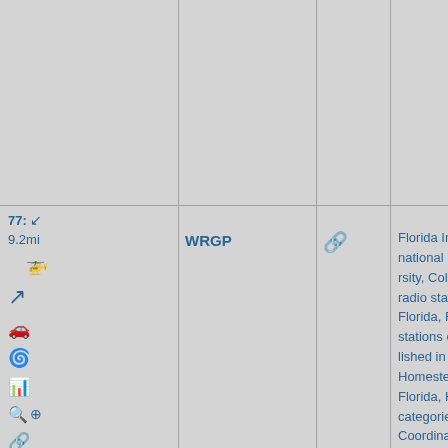|  |  |  |  |  |
| --- | --- | --- | --- | --- |
| 77: ↙ 9.2mi [icons] | WRGP | 🔗 | Florida International University, College radio stations in Florida, Radio stations established in 1988, Homestead, Florida, Hidden categories:, Coordinates on Wikidata, |  |